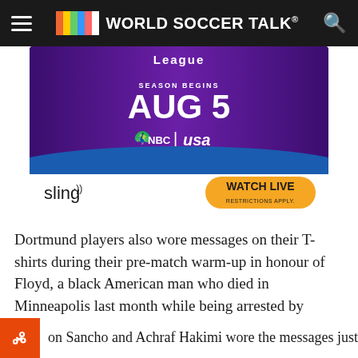World Soccer Talk
[Figure (photo): Sling TV advertisement for Premier League on NBC and USA Network. Season begins AUG 5. Features soccer players in Man City and Arsenal kits. Shows Sling logo with WATCH LIVE button.]
Dortmund players also wore messages on their T-shirts during their pre-match warm-up in honour of Floyd, a black American man who died in Minneapolis last month while being arrested by police officers.
on Sancho and Achraf Hakimi wore the messages justice, no peace", while midfielders Axel Witsel